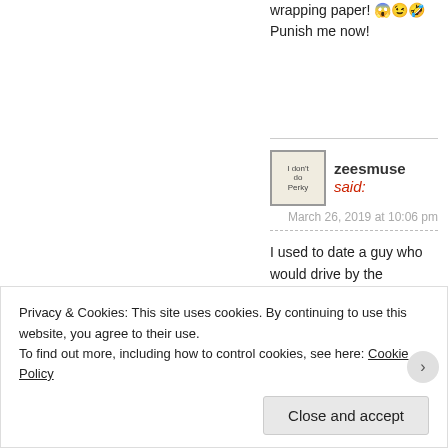wrapping paper! 😱😉🤣 Punish me now!
zeesmuse said: March 26, 2019 at 10:06 pm
I used to date a guy who would drive by the Goodwill and Salvation Army dumpsters and take what he wanted/needed. Said he figured he saved them a haul. I think what he did was disgusting, but I think the
Privacy & Cookies: This site uses cookies. By continuing to use this website, you agree to their use. To find out more, including how to control cookies, see here: Cookie Policy
Close and accept